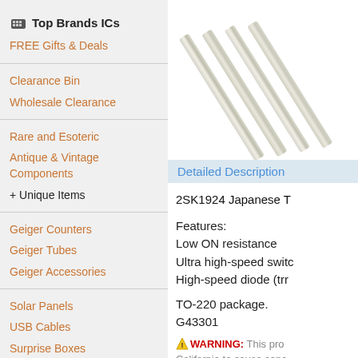Top Brands ICs
FREE Gifts & Deals
Clearance Bin
Wholesale Clearance
Rare and Esoteric
Antique & Vintage Components
+ Unique Items
Geiger Counters
Geiger Tubes
Geiger Accessories
Solar Panels
USB Cables
Surprise Boxes
Supercapacitors / Boostcap
AC Items
Adapters
[Figure (photo): Electronic component pins/leads (TO-220 package transistor leads) shown at an angle, silver metallic finish on white background]
Detailed Description
2SK1924 Japanese T
Features:
Low ON resistance
Ultra high-speed switc
High-speed diode (trr
TO-220 package.
G43301
WARNING: This pro
California to cause canc